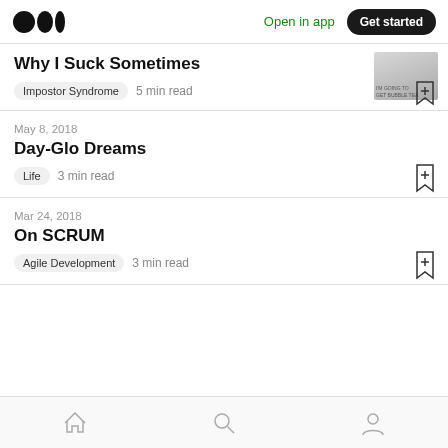Medium logo | Open in app | Get started
Why I Suck Sometimes
Impostor Syndrome · 5 min read
May 8, 2018
Day-Glo Dreams
Life · 3 min read
Mar 24, 2018
On SCRUM
Agile Development · 3 min read
Home | Search | Profile